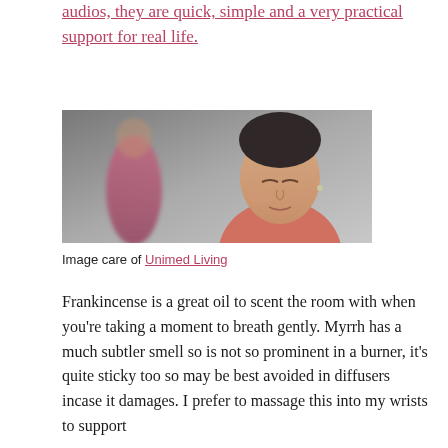audios, they are quick, simple and a very practical support for real life.
[Figure (photo): A middle-aged woman with short dark hair, eyes closed, appearing calm or meditative. A blurred figure in pink is visible in the background.]
Image care of Unimed Living
Frankincense is a great oil to scent the room with when you're taking a moment to breath gently. Myrrh has a much subtler smell so is not so prominent in a burner, it's quite sticky too so may be best avoided in diffusers incase it damages. I prefer to massage this into my wrists to support